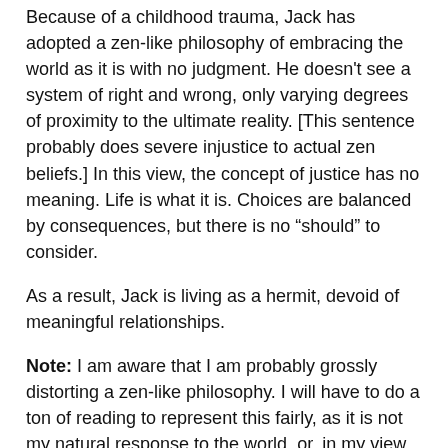Because of a childhood trauma, Jack has adopted a zen-like philosophy of embracing the world as it is with no judgment. He doesn't see a system of right and wrong, only varying degrees of proximity to the ultimate reality. [This sentence probably does severe injustice to actual zen beliefs.] In this view, the concept of justice has no meaning. Life is what it is. Choices are balanced by consequences, but there is no “should” to consider.
As a result, Jack is living as a hermit, devoid of meaningful relationships.
Note: I am aware that I am probably grossly distorting a zen-like philosophy. I will have to do a ton of reading to represent this fairly, as it is not my natural response to the world, or, in my view, the natural response of any human who has not consciously made the effort to divorce value judgments from life experience.